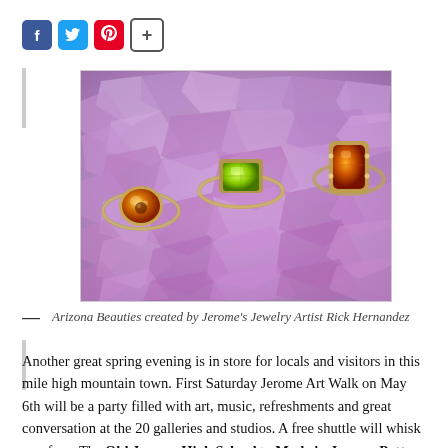[Figure (photo): Three decorative rings with gemstones (amber/orange and green/peridot) displayed on a background of crushed purple amethyst crystals.]
— Arizona Beauties created by Jerome's Jewelry Artist Rick Hernandez
Another great spring evening is in store for locals and visitors in this mile high mountain town. First Saturday Jerome Art Walk on May 6th will be a party filled with art, music, refreshments and great conversation at the 20 galleries and studios. A free shuttle will whisk you from The Old Jerome High School to Made in Jerome Pottery and everywhere in between. Walking the inviting streets is another easy option for art lovers. Jerome